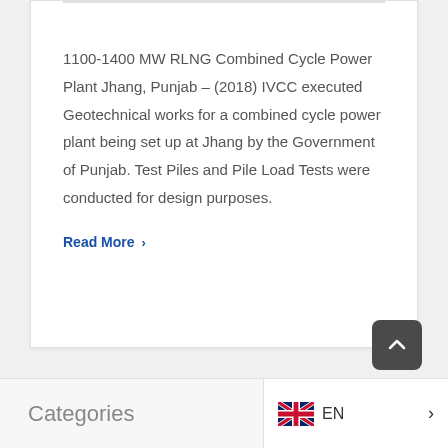1100-1400 MW RLNG Combined Cycle Power Plant Jhang, Punjab – (2018) IVCC executed Geotechnical works for a combined cycle power plant being set up at Jhang by the Government of Punjab. Test Piles and Pile Load Tests were conducted for design purposes.
Read More >
Categories